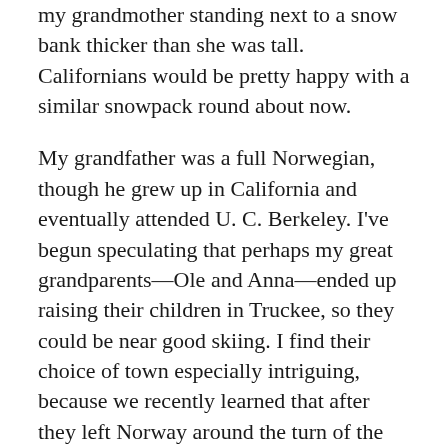my grandmother standing next to a snow bank thicker than she was tall. Californians would be pretty happy with a similar snowpack round about now.
My grandfather was a full Norwegian, though he grew up in California and eventually attended U. C. Berkeley. I've begun speculating that perhaps my great grandparents—Ole and Anna—ended up raising their children in Truckee, so they could be near good skiing. I find their choice of town especially intriguing, because we recently learned that after they left Norway around the turn of the twentieth century, they eventually docked in Vancouver, British Columbia. I don't know if they sailed on to San Francisco from there—or if they traveled overland. Perhaps they took the train.
I do like to imagine the family heading south on various conveyances they would have used in their journey south and